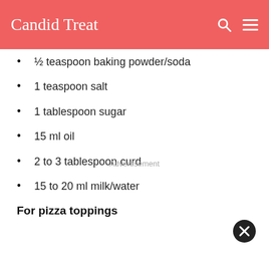Candid Treat
½ teaspoon baking powder/soda
1 teaspoon salt
1 tablespoon sugar
15 ml oil
2 to 3 tablespoon curd
15 to 20 ml milk/water
For pizza toppings
Advertisement